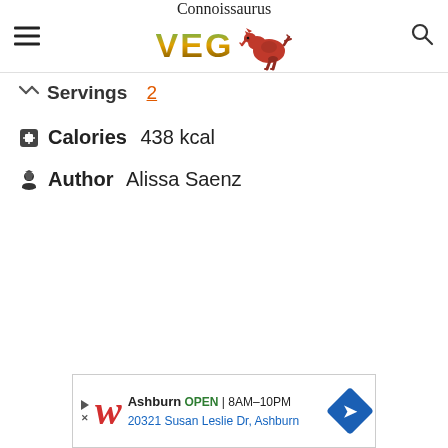Connoissaurus VEG
Servings 2
Calories 438 kcal
Author Alissa Saenz
[Figure (infographic): Walgreens advertisement banner: Ashburn OPEN 8AM-10PM, 20321 Susan Leslie Dr, Ashburn]